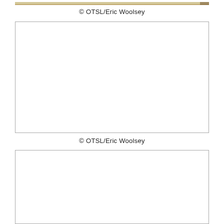[Figure (photo): Partial bottom edge of a photograph showing a tan/golden colored surface, cropped at the top of the page]
© OTSL/Eric Woolsey
[Figure (photo): Empty white photo placeholder box with gray border]
© OTSL/Eric Woolsey
[Figure (photo): Empty white photo placeholder box with gray border, partially visible at bottom of page]